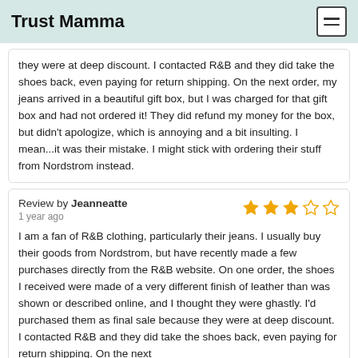Trust Mamma
they were at deep discount. I contacted R&B and they did take the shoes back, even paying for return shipping. On the next order, my jeans arrived in a beautiful gift box, but I was charged for that gift box and had not ordered it! They did refund my money for the box, but didn't apologize, which is annoying and a bit insulting. I mean...it was their mistake. I might stick with ordering their stuff from Nordstrom instead.
Review by Jeanneatte
1 year ago
3 out of 5 stars
I am a fan of R&B clothing, particularly their jeans. I usually buy their goods from Nordstrom, but have recently made a few purchases directly from the R&B website. On one order, the shoes I received were made of a very different finish of leather than was shown or described online, and I thought they were ghastly. I'd purchased them as final sale because they were at deep discount. I contacted R&B and they did take the shoes back, even paying for return shipping. On the next